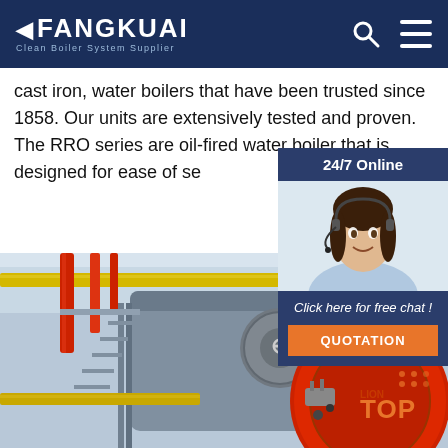FANGKUAI - Clean Boiler System Supplier
cast iron, water boilers that have been trusted since 1858. Our units are extensively tested and proven. The RRO series are oil-fired water boiler that is designed for ease of se...
Get Price
[Figure (photo): Customer service agent with headset, 24/7 Online chat widget with dark blue background and orange QUOTATION button]
[Figure (photo): Industrial boiler room with red cylindrical boiler, yellow and red pipes, metal staircase and grating inside a factory]
[Figure (other): TOP badge in orange and white dots at bottom right]